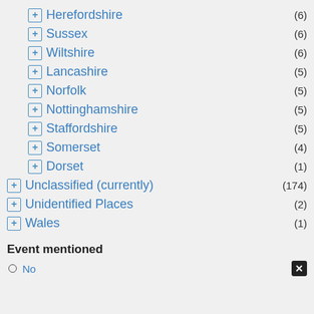Herefordshire (6)
Sussex (6)
Wiltshire (6)
Lancashire (5)
Norfolk (5)
Nottinghamshire (5)
Staffordshire (5)
Somerset (4)
Dorset (1)
Unclassified (currently) (174)
Unidentified Places (2)
Wales (1)
Event mentioned
No